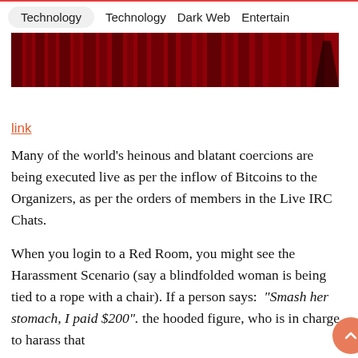Technology  Technology  Dark Web  Entertain
[Figure (photo): Dark red/black image banner, appears to be a dimly lit scene with vertical streaks of red and dark tones, with a shadowy figure on the right.]
link
Many of the world's heinous and blatant coercions are being executed live as per the inflow of Bitcoins to the Organizers, as per the orders of members in the Live IRC Chats.
When you login to a Red Room, you might see the Harassment Scenario (say a blindfolded woman is being tied to a rope with a chair). If a person says:  "Smash her stomach, I paid $200". the hooded figure, who is in charge to harass that